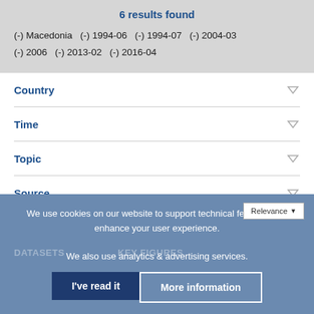6 results found
(-) Macedonia  (-) 1994-06  (-) 1994-07  (-) 2004-03  (-) 2006  (-) 2013-02  (-) 2016-04
Country
Time
Topic
Source
JEL Code
We use cookies on our website to support technical features that enhance your user experience. We also use analytics & advertising services.
I've read it
More information